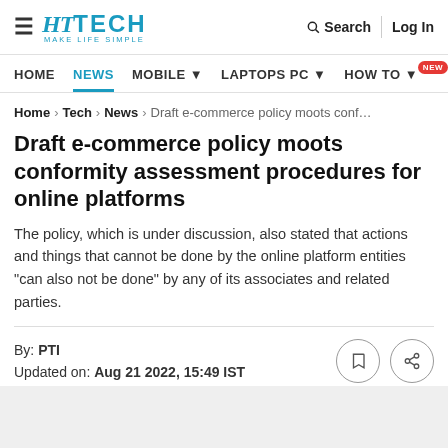HT TECH MAKE LIFE SIMPLE | Search | Log In
HOME | NEWS | MOBILE | LAPTOPS PC | HOW TO NEW
Home > Tech > News > Draft e-commerce policy moots conf…
Draft e-commerce policy moots conformity assessment procedures for online platforms
The policy, which is under discussion, also stated that actions and things that cannot be done by the online platform entities "can also not be done" by any of its associates and related parties.
By: PTI
Updated on: Aug 21 2022, 15:49 IST